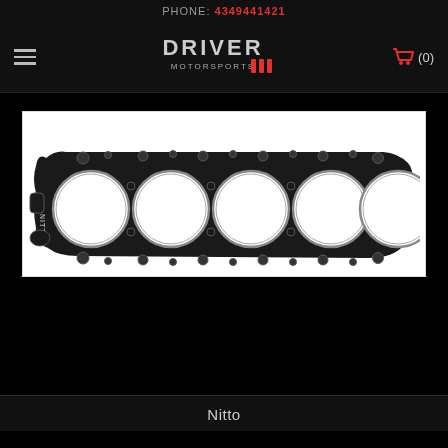PHONE: 4349441421
[Figure (logo): Driver Motorsports logo with stylized text and racing stripe graphic]
[Figure (photo): Engine head gasket (6-cylinder inline) shown from above on white background — black metal gasket with six large circular bore openings, bolt holes around perimeter, NITTO marking visible on left side]
Nitto